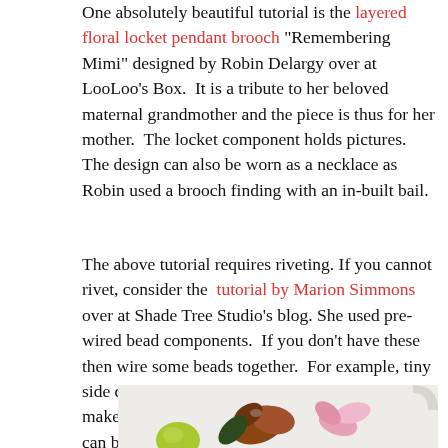One absolutely beautiful tutorial is the layered floral locket pendant brooch "Remembering Mimi" designed by Robin Delargy over at LooLoo's Box.  It is a tribute to her beloved maternal grandmother and the piece is thus for her mother.  The locket component holds pictures.  The design can also be worn as a necklace as Robin used a brooch finding with an in-built bail.
The above tutorial requires riveting. If you cannot rivet, consider the  tutorial by Marion Simmons over at Shade Tree Studio's blog. She used pre-wired bead components.  If you don't have these then wire some beads together.  For example, tiny side drilled drops can be gathered together to make a flower.  Attach the brooch to a bail so it can be worn as a necklace.
[Figure (photo): Photograph of a decorative floral brooch featuring glass or resin flowers in pink, amber, and green tones arranged together, photographed against a light grey background.]